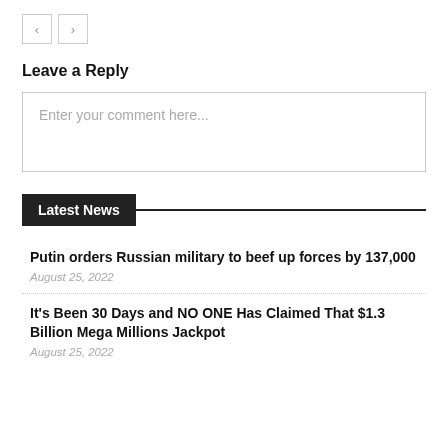[Figure (other): Navigation buttons: left arrow and right arrow]
Leave a Reply
Enter your comment here...
Latest News
Putin orders Russian military to beef up forces by 137,000
August 25, 2022
It's Been 30 Days and NO ONE Has Claimed That $1.3 Billion Mega Millions Jackpot
August 25, 2022